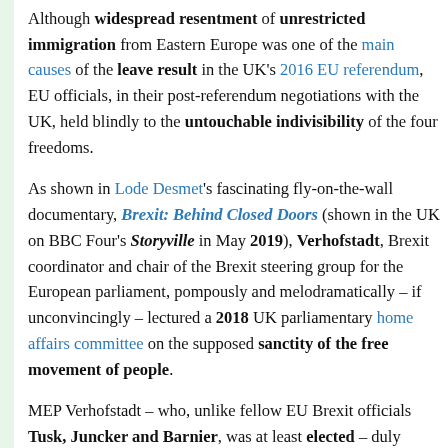Although widespread resentment of unrestricted immigration from Eastern Europe was one of the main causes of the leave result in the UK's 2016 EU referendum, EU officials, in their post-referendum negotiations with the UK, held blindly to the untouchable indivisibility of the four freedoms.
As shown in Lode Desmet's fascinating fly-on-the-wall documentary, Brexit: Behind Closed Doors (shown in the UK on BBC Four's Storyville in May 2019), Verhofstadt, Brexit coordinator and chair of the Brexit steering group for the European parliament, pompously and melodramatically – if unconvincingly – lectured a 2018 UK parliamentary home affairs committee on the supposed sanctity of the free movement of people.
MEP Verhofstadt – who, unlike fellow EU Brexit officials Tusk, Juncker and Barnier, was at least elected – duly preached the 4F credo to the committee: